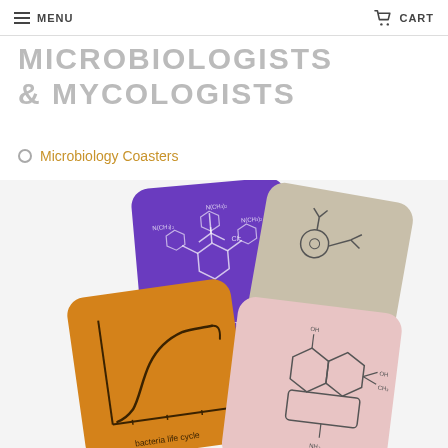MENU | CART
MICROBIOLOGISTS & MYCOLOGISTS
Microbiology Coasters
[Figure (photo): Four science-themed coasters: purple coaster with crystal violet gram stain chemical structure, tan/beige coaster with bacteria size chemical structure, orange coaster with bacteria life cycle growth curve, pink coaster with antibiotic chemical structure]